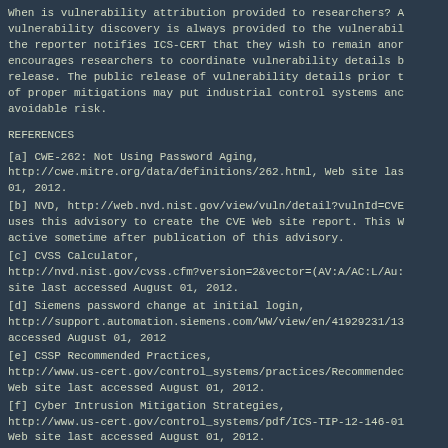When is vulnerability attribution provided to researchers? A vulnerability discovery is always provided to the vulnerability reporter notifies ICS-CERT that they wish to remain anonymous. ICS-CERT encourages researchers to coordinate vulnerability details before public release. The public release of vulnerability details prior to the availability of proper mitigations may put industrial control systems and their owners at avoidable risk.
REFERENCES
[a] CWE-262: Not Using Password Aging, http://cwe.mitre.org/data/definitions/262.html, Web site last accessed August 01, 2012.
[b] NVD, http://web.nvd.nist.gov/view/vuln/detail?vulnId=CVE uses this advisory to create the CVE Web site report. This W active sometime after publication of this advisory.
[c] CVSS Calculator, http://nvd.nist.gov/cvss.cfm?version=2&vector=(AV:A/AC:L/Au: site last accessed August 01, 2012.
[d] Siemens password change at initial login, http://support.automation.siemens.com/WW/view/en/41929231/13 accessed August 01, 2012
[e] CSSP Recommended Practices, http://www.us-cert.gov/control_systems/practices/Recommended Web site last accessed August 01, 2012.
[f] Cyber Intrusion Mitigation Strategies, http://www.us-cert.gov/control_systems/pdf/ICS-TIP-12-146-01 Web site last accessed August 01, 2012.
- ----------------------------END INCLUDED TEXT-------------------
You have received this e-mail bulletin as a result of your c registration with AusCERT. The mailing list you are subscrib